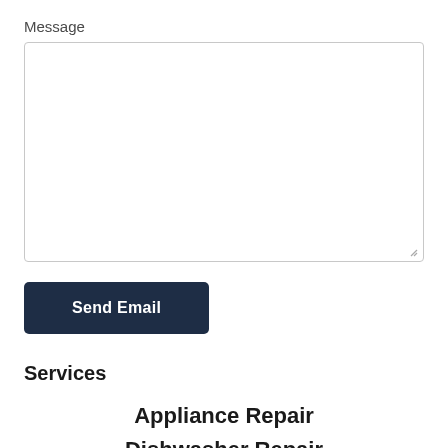Message
[Figure (other): Empty textarea input field for message entry with resize handle at bottom-right]
Send Email
Services
Appliance Repair
Dishwasher Repair